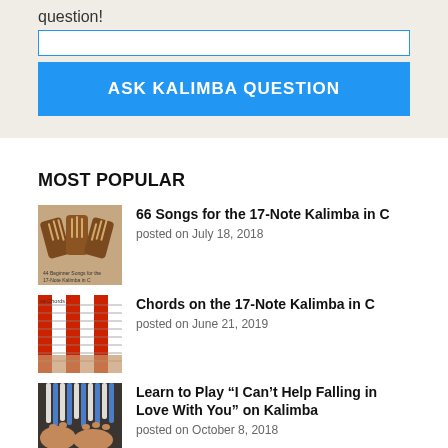question!
ASK KALIMBA QUESTION
MOST POPULAR
66 Songs for the 17-Note Kalimba in C
posted on July 18, 2018
[Figure (photo): Three kalimba instruments fanned out]
Chords on the 17-Note Kalimba in C
posted on June 21, 2019
[Figure (photo): Kalimba chord diagram with red and white stripes]
Learn to Play “I Can’t Help Falling in Love With You” on Kalimba
posted on October 8, 2018
[Figure (photo): Hands playing a kalimba with blue and white tines]